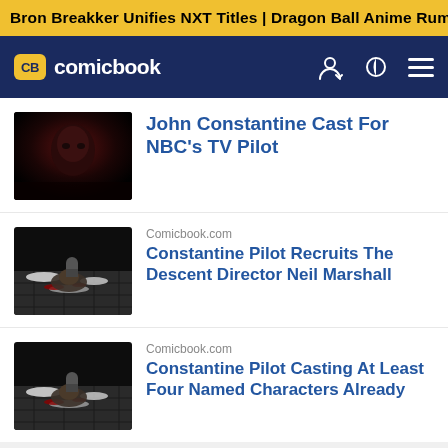Bron Breakker Unifies NXT Titles | Dragon Ball Anime Rumor
CB comicbook
[Figure (screenshot): Thumbnail image of John Constantine character, dark reddish tones]
John Constantine Cast For NBC's TV Pilot
Comicbook.com
[Figure (screenshot): Dark fantasy artwork showing a creature or scene on stone tiles with snow]
Constantine Pilot Recruits The Descent Director Neil Marshall
Comicbook.com
[Figure (screenshot): Dark fantasy artwork similar to second image, creature on stone tiles with snow and red]
Constantine Pilot Casting At Least Four Named Characters Already